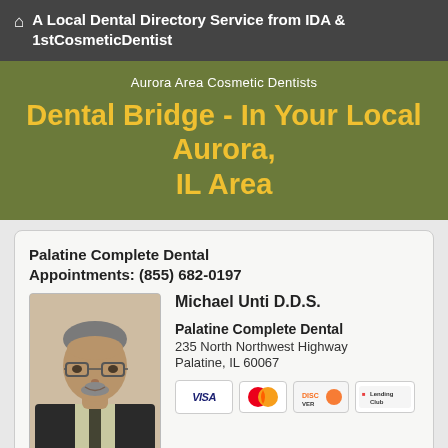A Local Dental Directory Service from IDA & 1stCosmeticDentist
Aurora Area Cosmetic Dentists
Dental Bridge - In Your Local Aurora, IL Area
Palatine Complete Dental
Appointments: (855) 682-0197
[Figure (photo): Headshot photo of Michael Unti D.D.S., a middle-aged man with glasses and a beard, wearing a dark suit and tie]
Michael Unti D.D.S.
Palatine Complete Dental
235 North Northwest Highway
Palatine, IL 60067
[Figure (other): Payment method icons: VISA, MasterCard, Discover, LendingClub]
Make Appt   Meet Dr. Unti   Website
more info ...